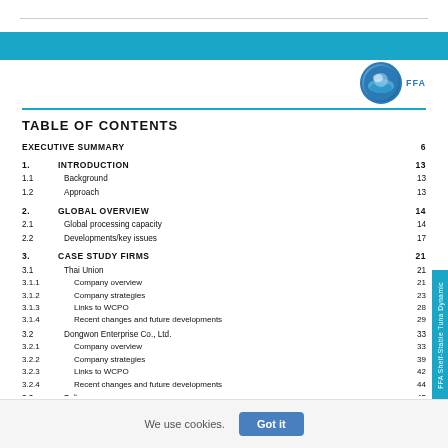[Figure (logo): FFA logo - circular blue ocean emblem with text FFA beside it]
TABLE OF CONTENTS
EXECUTIVE SUMMARY  6
1.   INTRODUCTION  13
1.1  Background  13
1.2  Approach  13
2.   GLOBAL OVERVIEW  14
2.1  Global processing capacity  14
2.2  Developments/key issues  17
3.   CASE STUDY FIRMS  21
3.1  Thai Union  21
3.1.1  Company overview  21
3.1.2  Company strategies  23
3.1.3  Links to WCPO  28
3.1.4  Recent changes and future developments  29
3.2  Dongwon Enterprise Co., Ltd.  33
3.2.1  Company overview  33
3.2.2  Company strategies  39
3.2.3  Links to WCPO  42
3.2.4  Recent changes and future developments  44
3.3  Bolton  45